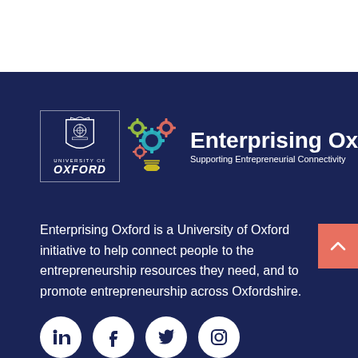[Figure (logo): Enterprising Oxford logo with University of Oxford crest, gear/lightbulb icon, and text 'Enterprising Oxford - Supporting Entrepreneurial Connectivity' on dark navy background]
Enterprising Oxford is a University of Oxford initiative to help connect people to the entrepreneurship resources they need, and to promote entrepreneurship across Oxfordshire.
[Figure (illustration): Social media icons: LinkedIn, Facebook, Twitter, Instagram — white circles on dark navy background]